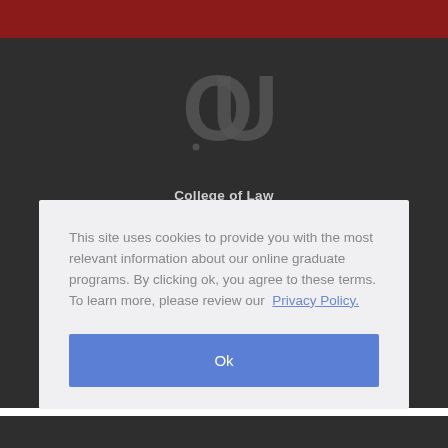[Figure (logo): University of Oklahoma interlocking OU logo in dark grey on dark background]
College of Law
This site uses cookies to provide you with the most relevant information about our online graduate programs. By clicking ok, you agree to these terms. To learn more, please review our Privacy Policy.
Ok